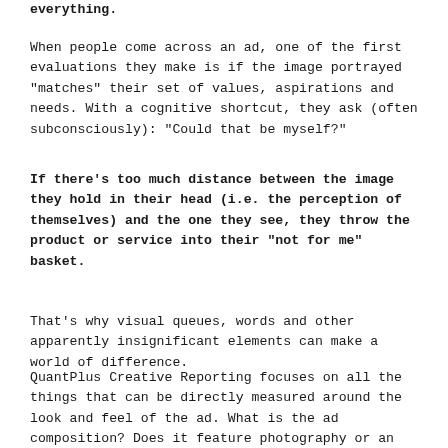everything.
When people come across an ad, one of the first evaluations they make is if the image portrayed “matches” their set of values, aspirations and needs. With a cognitive shortcut, they ask (often subconsciously): “Could that be myself?”
If there’s too much distance between the image they hold in their head (i.e. the perception of themselves) and the one they see, they throw the product or service into their “not for me” basket.
That’s why visual queues, words and other apparently insignificant elements can make a world of difference.
QuantPlus Creative Reporting focuses on all the things that can be directly measured around the look and feel of the ad. What is the ad composition? Does it feature photography or an abstract artwork? What’s the principal theme? What location, people, objects and colours are featured? All is considered and